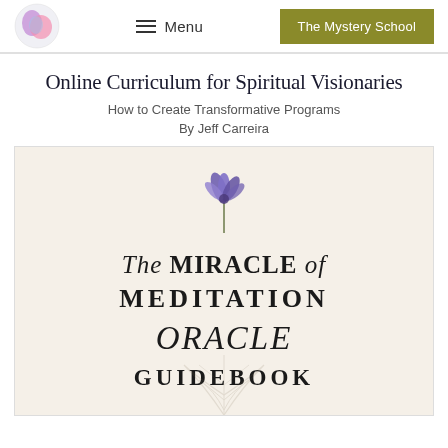[Figure (logo): Circular logo with pink/purple swirl design]
≡ Menu   The Mystery School
Online Curriculum for Spiritual Visionaries
How to Create Transformative Programs
By Jeff Carreira
[Figure (photo): Book cover for 'The Miracle of Meditation Oracle Guidebook' on cream/beige background with purple flower illustration at top and faint botanical line art watermark at bottom]